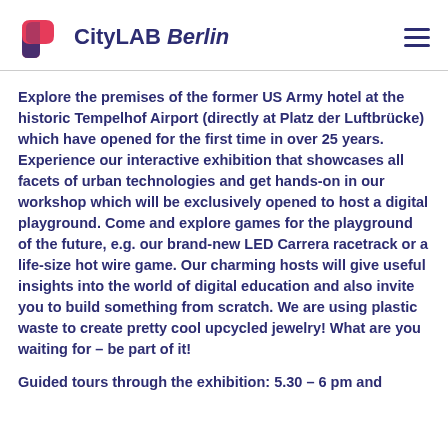CityLAB Berlin
Explore the premises of the former US Army hotel at the historic Tempelhof Airport (directly at Platz der Luftbrücke) which have opened for the first time in over 25 years. Experience our interactive exhibition that showcases all facets of urban technologies and get hands-on in our workshop which will be exclusively opened to host a digital playground. Come and explore games for the playground of the future, e.g. our brand-new LED Carrera racetrack or a life-size hot wire game. Our charming hosts will give useful insights into the world of digital education and also invite you to build something from scratch. We are using plastic waste to create pretty cool upcycled jewelry! What are you waiting for – be part of it!
Guided tours through the exhibition: 5.30 – 6 pm and